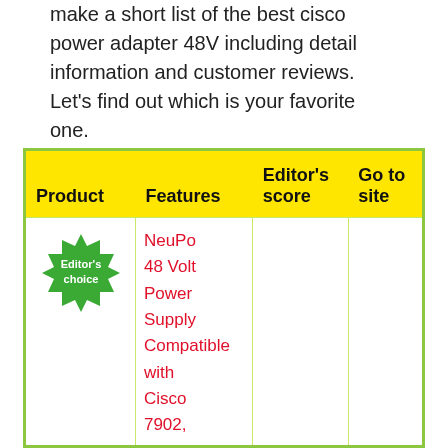make a short list of the best cisco power adapter 48V including detail information and customer reviews. Let's find out which is your favorite one.
| Product | Features | Editor's score | Go to site |
| --- | --- | --- | --- |
| [Editor's choice badge] | NeuPo 48 Volt Power Supply Compatible with Cisco 7902, |  |  |